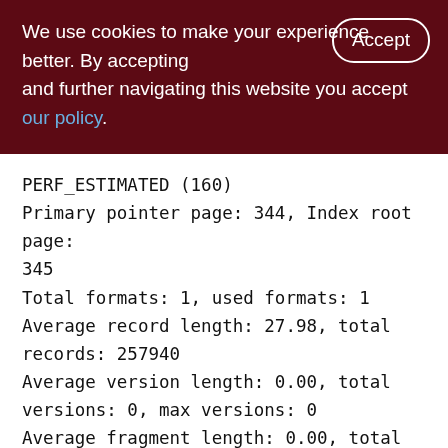We use cookies to make your experience better. By accepting and further navigating this website you accept our policy.
PERF_ESTIMATED (160)
Primary pointer page: 344, Index root page: 345
Total formats: 1, used formats: 1
Average record length: 27.98, total records: 257940
Average version length: 0.00, total versions: 0, max versions: 0
Average fragment length: 0.00, total fragments: 0, max fragments: 0
Average unpacked length: 32.00, compression ratio: 1.14